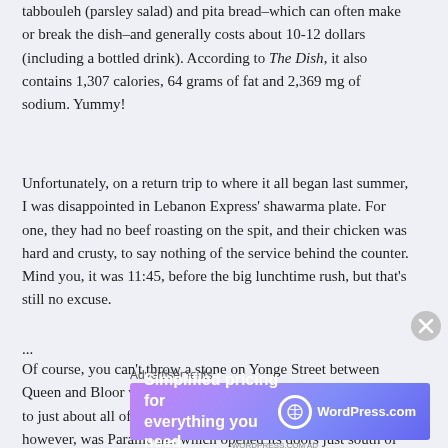tabbouleh (parsley salad) and pita bread–which can often make or break the dish–and generally costs about 10-12 dollars (including a bottled drink).  According to The Dish, it also contains 1,307 calories, 64 grams of fat and 2,369 mg of sodium.  Yummy!
Unfortunately, on a return trip to where it all began last summer, I was disappointed in Lebanon Express' shawarma plate.  For one, they had no beef roasting on the spit, and their chicken was hard and crusty, to say nothing of the service behind the counter.  Mind you, it was 11:45, before the big lunchtime rush, but that's still no excuse.
...
Of course, you can't throw a stone on Yonge Street between Queen and Bloor without hitting a shawarma shop, and I've been to just about all of them.  One place I hadn't tried until last week, however, was Paramount, which opened its doors just south of Dundas about a year and a half ago.  How I missed this place.
Advertisements
[Figure (other): WordPress.com advertisement banner with gradient purple background. Text: 'Simplified pricing for everything you need.' with WordPress.com logo.]